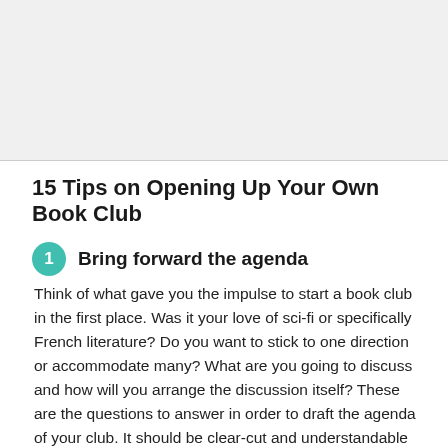[Figure (other): Large blank/image area at the top of the page, likely a photo placeholder or cropped image]
15 Tips on Opening Up Your Own Book Club
Bring forward the agenda
Think of what gave you the impulse to start a book club in the first place. Was it your love of sci-fi or specifically French literature? Do you want to stick to one direction or accommodate many? What are you going to discuss and how will you arrange the discussion itself? These are the questions to answer in order to draft the agenda of your club. It should be clear-cut and understandable for future member as well.